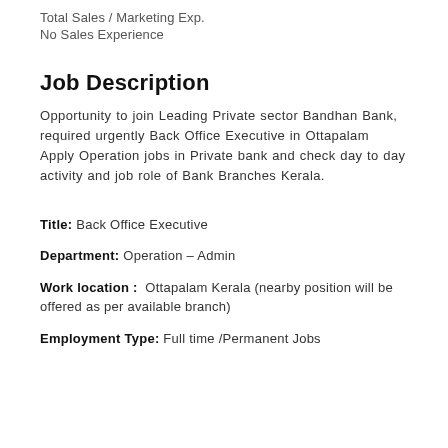Total Sales / Marketing Exp.
No Sales Experience
Job Description
Opportunity to join Leading Private sector Bandhan Bank, required urgently Back Office Executive in Ottapalam  Apply Operation jobs in Private bank and check day to day activity and job role of Bank Branches Kerala.
Title: Back Office Executive
Department: Operation – Admin
Work location :  Ottapalam Kerala (nearby position will be offered as per available branch)
Employment Type: Full time /Permanent Jobs